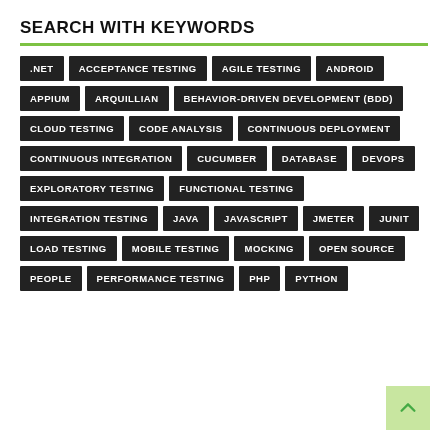SEARCH WITH KEYWORDS
.NET
ACCEPTANCE TESTING
AGILE TESTING
ANDROID
APPIUM
ARQUILLIAN
BEHAVIOR-DRIVEN DEVELOPMENT (BDD)
CLOUD TESTING
CODE ANALYSIS
CONTINUOUS DEPLOYMENT
CONTINUOUS INTEGRATION
CUCUMBER
DATABASE
DEVOPS
EXPLORATORY TESTING
FUNCTIONAL TESTING
INTEGRATION TESTING
JAVA
JAVASCRIPT
JMETER
JUNIT
LOAD TESTING
MOBILE TESTING
MOCKING
OPEN SOURCE
PEOPLE
PERFORMANCE TESTING
PHP
PYTHON